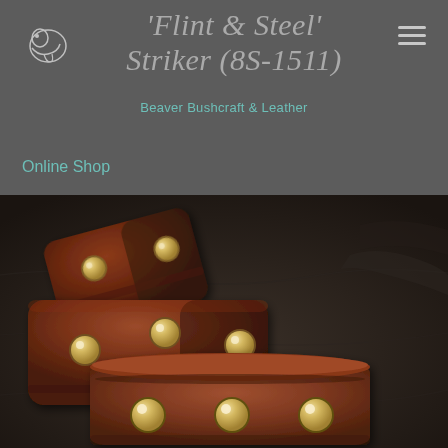'Flint & Steel' Striker (8S-1511)
Beaver Bushcraft & Leather
Online Shop
[Figure (photo): Three brown leather flint and steel strikers with brass rivets/studs arranged on a rocky surface. The leather pouches are dark reddish-brown with multiple round brass dome studs on each piece.]